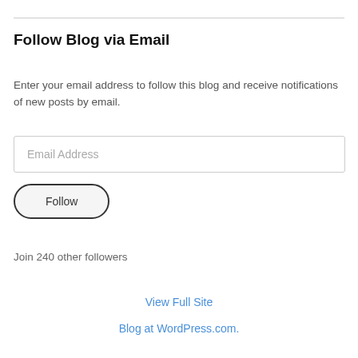Follow Blog via Email
Enter your email address to follow this blog and receive notifications of new posts by email.
[Figure (other): Email address input field with placeholder text 'Email Address']
[Figure (other): Follow button with rounded pill border]
Join 240 other followers
View Full Site
Blog at WordPress.com.